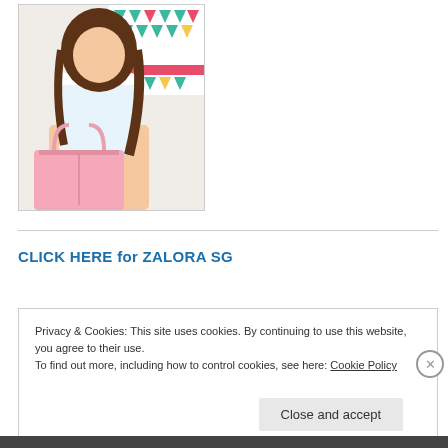[Figure (photo): A young woman with long brown hair wearing a white off-shoulder top and light blue shorts, sitting with a pink tote bag, in front of a colorful geometric patterned backdrop.]
CLICK HERE for ZALORA SG
Privacy & Cookies: This site uses cookies. By continuing to use this website, you agree to their use. To find out more, including how to control cookies, see here: Cookie Policy
Close and accept